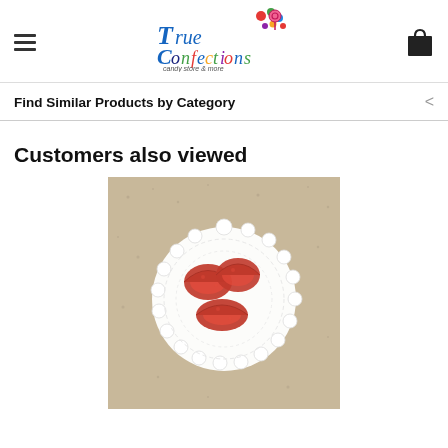True Confections candy store & more
Find Similar Products by Category
Customers also viewed
[Figure (photo): Photo of red gummy candy pieces (raspberry slices) arranged on a white lace doily on a beige/tan textured surface]